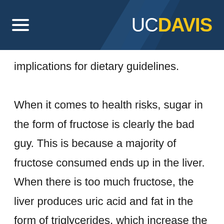UC DAVIS
implications for dietary guidelines.

When it comes to health risks, sugar in the form of fructose is clearly the bad guy. This is because a majority of fructose consumed ends up in the liver. When there is too much fructose, the liver produces uric acid and fat in the form of triglycerides, which increase the risk of fatty liver, heart disease and gout. But lead investigator Kimber Stanhope, a